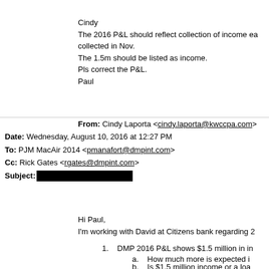Cindy
The 2016 P&L should reflect collection of income ea collected in Nov.
The 1.5m should be listed as income.
Pls correct the P&L.
Paul
From: Cindy Laporta <cindy.laporta@kwccpa.com>
Date: Wednesday, August 10, 2016 at 12:27 PM
To: PJM MacAir 2014 <pmanafort@dmpint.com>
Cc: Rick Gates <rgates@dmpint.com>
Subject: [REDACTED]
Hi Paul,
I'm working with David at Citizens bank regarding 2
1. DMP 2016 P&L shows $1.5 million in in
a. How much more is expected i
b. Is $1.5 million income or a loa